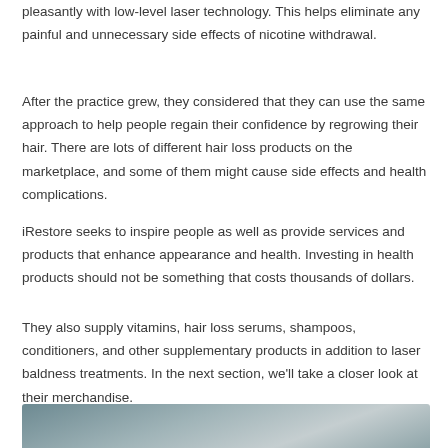pleasantly with low-level laser technology. This helps eliminate any painful and unnecessary side effects of nicotine withdrawal.
After the practice grew, they considered that they can use the same approach to help people regain their confidence by regrowing their hair. There are lots of different hair loss products on the marketplace, and some of them might cause side effects and health complications.
iRestore seeks to inspire people as well as provide services and products that enhance appearance and health. Investing in health products should not be something that costs thousands of dollars.
They also supply vitamins, hair loss serums, shampoos, conditioners, and other supplementary products in addition to laser baldness treatments. In the next section, we'll take a closer look at their merchandise.
[Figure (photo): Partial view of a product or person, cropped at the bottom of the page]